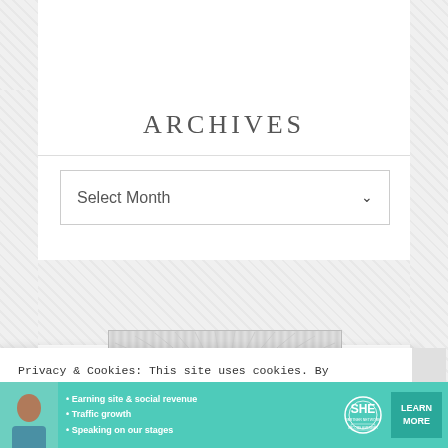ARCHIVES
Select Month
Privacy & Cookies: This site uses cookies. By continuing to use this website, you agree to their use.
To find out more, including how to control cookies, see here: Cookie Policy
[Figure (screenshot): Advertisement banner for SHE Media Partner Network featuring a woman's photo, bullet points about earning site & social revenue, traffic growth, speaking on stages, the SHE Media logo, and a Learn More button]